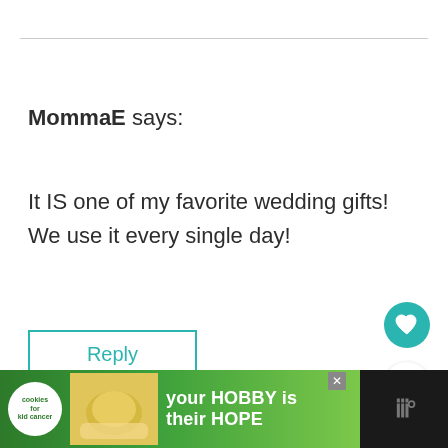MommaE says:
It IS one of my favorite wedding gifts!
We use it every single day!
[Figure (screenshot): Reply button (teal border), heart/like button (teal circle), share button]
[Figure (screenshot): What's Next panel with thumbnail photo and text 'The last time I ran']
[Figure (screenshot): Advertisement bar: cookies for kid cancer - 'your HOBBY is their HOPE']